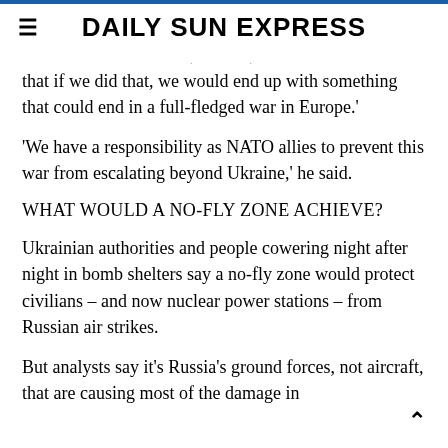DAILY SUN EXPRESS
that if we did that, we would end up with something that could end in a full-fledged war in Europe.'
'We have a responsibility as NATO allies to prevent this war from escalating beyond Ukraine,' he said.
WHAT WOULD A NO-FLY ZONE ACHIEVE?
Ukrainian authorities and people cowering night after night in bomb shelters say a no-fly zone would protect civilians – and now nuclear power stations – from Russian air strikes.
But analysts say it's Russia's ground forces, not aircraft, that are causing most of the damage in